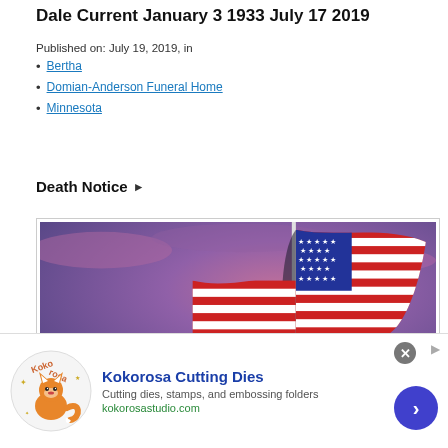Dale Current January 3 1933 July 17 2019
Published on: July 19, 2019, in
Bertha
Domian-Anderson Funeral Home
Minnesota
Death Notice ▶
[Figure (photo): American flag waving against a purple/pink twilight sky]
Kokorosa Cutting Dies
Cutting dies, stamps, and embossing folders
kokorosastudio.com